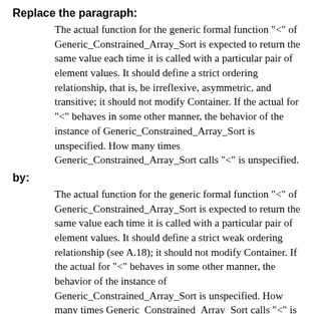Replace the paragraph:
The actual function for the generic formal function "<" of Generic_Constrained_Array_Sort is expected to return the same value each time it is called with a particular pair of element values. It should define a strict ordering relationship, that is, be irreflexive, asymmetric, and transitive; it should not modify Container. If the actual for "<" behaves in some other manner, the behavior of the instance of Generic_Constrained_Array_Sort is unspecified. How many times Generic_Constrained_Array_Sort calls "<" is unspecified.
by:
The actual function for the generic formal function "<" of Generic_Constrained_Array_Sort is expected to return the same value each time it is called with a particular pair of element values. It should define a strict weak ordering relationship (see A.18); it should not modify Container. If the actual for "<" behaves in some other manner, the behavior of the instance of Generic_Constrained_Array_Sort is unspecified. How many times Generic_Constrained_Array_Sort calls "<" is unspecified.
!ACATS test